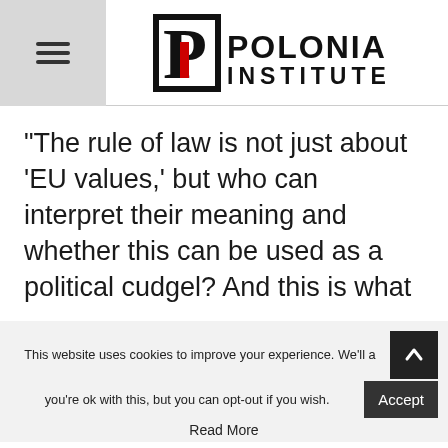Polonia Institute
“The rule of law is not just about ‘EU values,’ but who can interpret their meaning and whether this can be used as a political cudgel? And this is what
This website uses cookies to improve your experience. We’ll a... you’re ok with this, but you can opt-out if you wish.
Read More